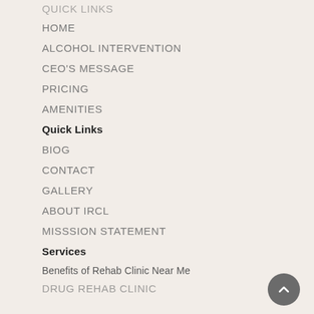QUICK LINKS
HOME
ALCOHOL INTERVENTION
CEO'S MESSAGE
PRICING
AMENITIES
Quick Links
BIOG
CONTACT
GALLERY
ABOUT IRCL
MISSSION STATEMENT
Services
Benefits of Rehab Clinic Near Me
DRUG REHAB CLINIC